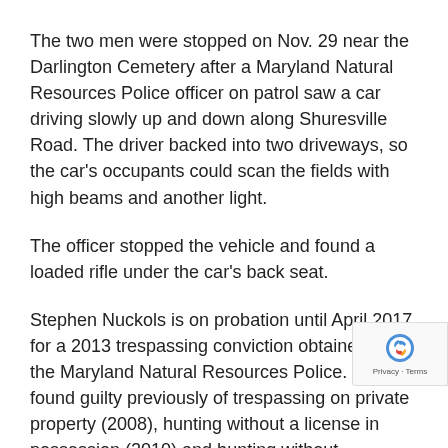The two men were stopped on Nov. 29 near the Darlington Cemetery after a Maryland Natural Resources Police officer on patrol saw a car driving slowly up and down along Shuresville Road. The driver backed into two driveways, so the car's occupants could scan the fields with high beams and another light.
The officer stopped the vehicle and found a loaded rifle under the car's back seat.
Stephen Nuckols is on probation until April 2017 for a 2013 trespassing conviction obtained by the Maryland Natural Resources Police. He was found guilty previously of trespassing on private property (2008), hunting without a license in possession (2010) and hunting without permission (2010), all in Harford County.
Brian Nuckols was found guilty of trespassing on private property in Harford County in 2008.